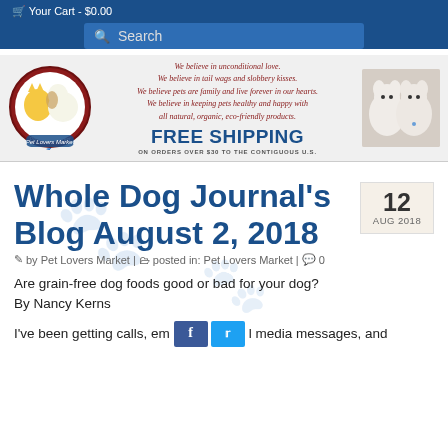🛒 Your Cart - $0.00
Search
[Figure (logo): Quality Pet Lovers Market logo with cat and dog illustration]
We believe in unconditional love. We believe in tail wags and slobbery kisses. We believe pets are family and live forever in our hearts. We believe in keeping pets healthy and happy with all natural, organic, eco-friendly products. FREE SHIPPING ON ORDERS OVER $30 TO THE CONTIGUOUS U.S.
[Figure (photo): Two small white fluffy dogs side by side]
Whole Dog Journal's Blog August 2, 2018
12 AUG 2018
🖊 by Pet Lovers Market | 🗂 posted in: Pet Lovers Market | 💬 0
Are grain-free dog foods good or bad for your dog?
By Nancy Kerns
I've been getting calls, em… s… l media messages, and